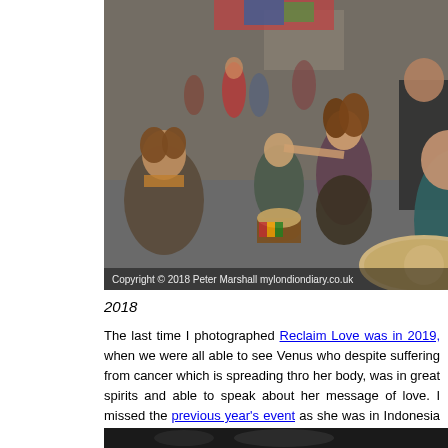[Figure (photo): Outdoor event photo showing people dancing and playing drums, including djembe drums. A woman in a purple crop top dances while others sit and play instruments. Copyright 2018 Peter Marshall mylondiondiary.co.uk watermark visible at bottom.]
2018
The last time I photographed Reclaim Love was in 2019, when we were all able to see Venus who despite suffering from cancer which is spreading through her body, was in great spirits and able to speak about her message of love. I had missed the previous year's event as she was in Indonesia being treated for her cancer.
[Figure (photo): Bottom portion of a dark photograph, partially visible.]